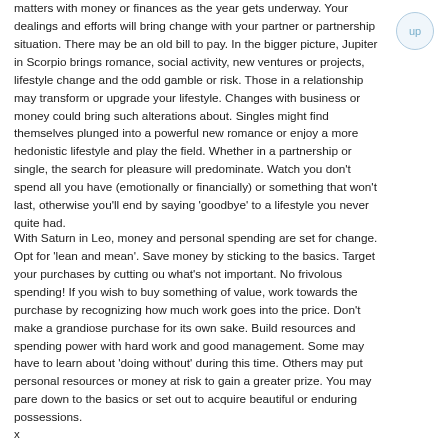matters with money or finances as the year gets underway. Your dealings and efforts will bring change with your partner or partnership situation. There may be an old bill to pay. In the bigger picture, Jupiter in Scorpio brings romance, social activity, new ventures or projects, lifestyle change and the odd gamble or risk. Those in a relationship may transform or upgrade your lifestyle. Changes with business or money could bring such alterations about. Singles might find themselves plunged into a powerful new romance or enjoy a more hedonistic lifestyle and play the field. Whether in a partnership or single, the search for pleasure will predominate. Watch you don't spend all you have (emotionally or financially) or something that won't last, otherwise you'll end by saying 'goodbye' to a lifestyle you never quite had.
With Saturn in Leo, money and personal spending are set for change. Opt for 'lean and mean'. Save money by sticking to the basics. Target your purchases by cutting ou what's not important. No frivolous spending! If you wish to buy something of value, work towards the purchase by recognizing how much work goes into the price. Don't make a grandiose purchase for its own sake. Build resources and spending power with hard work and good management. Some may have to learn about 'doing without' during this time. Others may put personal resources or money at risk to gain a greater prize. You may pare down to the basics or set out to acquire beautiful or enduring possessions.
x